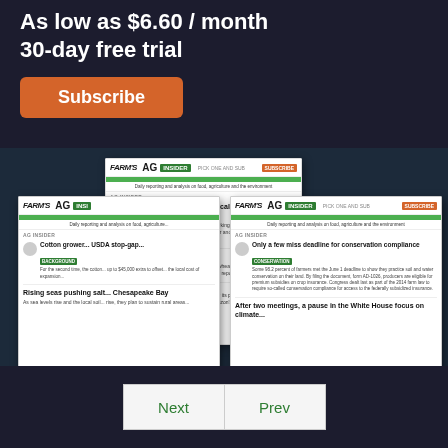As low as $6.60 / month
30-day free trial
Subscribe
[Figure (screenshot): AG Insider newsletter subscription promotional page showing three overlapping newsletter article preview cards with headlines about farming topics including Bayer-Monsanto merger, conservation compliance, cotton growers, drought in Argentina, and Chesapeake Bay.]
Next
Prev